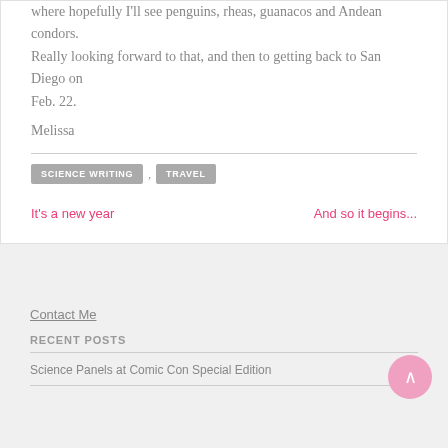where hopefully I'll see penguins, rheas, guanacos and Andean condors. Really looking forward to that, and then to getting back to San Diego on Feb. 22.
Melissa
SCIENCE WRITING , TRAVEL
It's a new year
And so it begins...
Contact Me
RECENT POSTS
Science Panels at Comic Con Special Edition